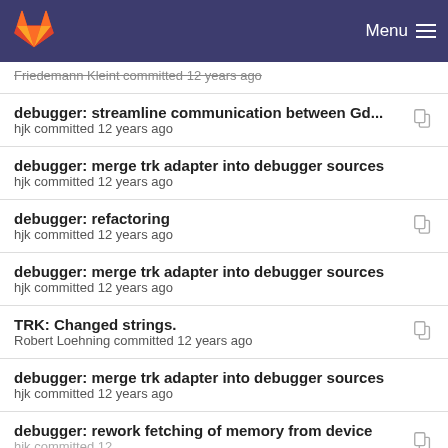GitLab Menu
Friedemann Kleint committed 12 years ago
debugger: streamline communication between Gd...
hjk committed 12 years ago
debugger: merge trk adapter into debugger sources
hjk committed 12 years ago
debugger: refactoring
hjk committed 12 years ago
debugger: merge trk adapter into debugger sources
hjk committed 12 years ago
TRK: Changed strings.
Robert Loehning committed 12 years ago
debugger: merge trk adapter into debugger sources
hjk committed 12 years ago
debugger: rework fetching of memory from device
hjk committed 12 years ago